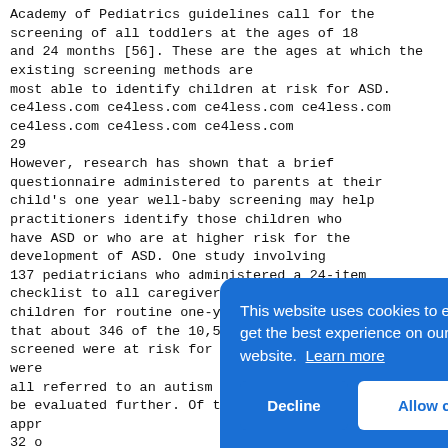Academy of Pediatrics guidelines call for the screening of all toddlers at the ages of 18 and 24 months [56]. These are the ages at which the existing screening methods are most able to identify children at risk for ASD. ce4less.com ce4less.com ce4less.com ce4less.com ce4less.com ce4less.com ce4less.com
29
However, research has shown that a brief questionnaire administered to parents at their child's one year well-baby screening may help practitioners identify those children who have ASD or who are at higher risk for the development of ASD. One study involving 137 pediatricians who administered a 24-item checklist to all caregivers bringing in children for routine one-year check-ups indicated that about 346 of the 10,500 children screened were at risk for autism. These children were all referred to an autism clinic to be evaluated further. Of these children appr... 32 o... Anot... with... diag... 9 ch... dela... diag... The call... Behavior Scales Developmental Profile Infant-Toddler Checklist, took the parents...
[Figure (screenshot): Cookie consent popup overlay with blue background. Text reads: 'This website uses cookies to ensure you get the best experience on our website. Learn more'. Two buttons: 'Decline' and 'Allow cookies'.]